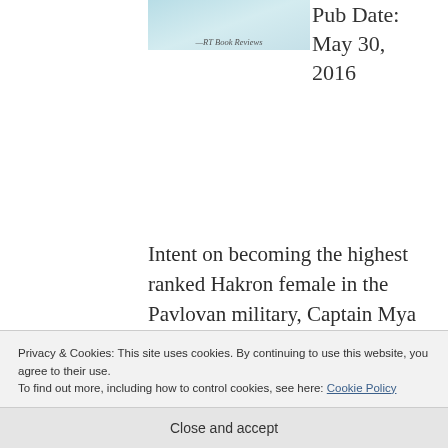[Figure (illustration): Book cover image with teal/blue tones and text '—RT Book Reviews' at the bottom]
Pub Date: May 30, 2016
Intent on becoming the highest ranked Hakron female in the Pavlovan military, Captain Mya Jong doesn't expect Orin, her First Male to suddenly decide he wants to find their Third and start a family. The whole idea horrifies her, and
Privacy & Cookies: This site uses cookies. By continuing to use this website, you agree to their use.
To find out more, including how to control cookies, see here: Cookie Policy
Close and accept